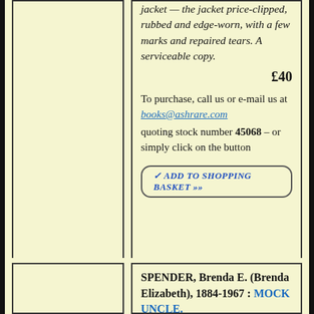jacket — the jacket price-clipped, rubbed and edge-worn, with a few marks and repaired tears. A serviceable copy.
£40
To purchase, call us or e-mail us at books@ashrare.com quoting stock number 45068 – or simply click on the button
✓ ADD TO SHOPPING BASKET »»
SPENDER, Brenda E. (Brenda Elizabeth), 1884-1967 : MOCK UNCLE.